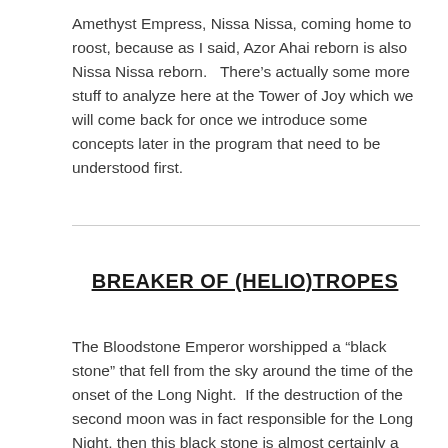Amethyst Empress, Nissa Nissa, coming home to roost, because as I said, Azor Ahai reborn is also Nissa Nissa reborn.   There's actually some more stuff to analyze here at the Tower of Joy which we will come back for once we introduce some concepts later in the program that need to be understood first.
BREAKER OF (HELIO)TROPES
The Bloodstone Emperor worshipped a “black stone” that fell from the sky around the time of the onset of the Long Night.  If the destruction of the second moon was in fact responsible for the Long Night, then this black stone is almost certainly a piece of the exploded